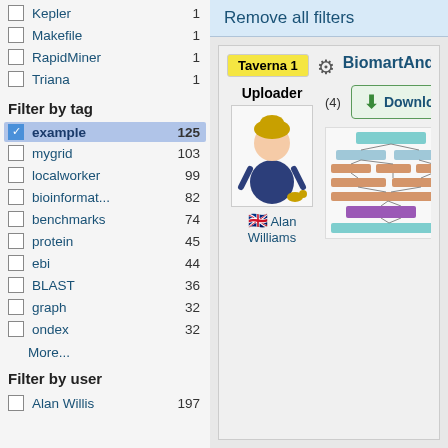Kepler 1
Makefile 1
RapidMiner 1
Triana 1
Filter by tag
example 125
mygrid 103
localworker 99
bioinformat... 82
benchmarks 74
protein 45
ebi 44
BLAST 36
graph 32
ondex 32
More...
Filter by user
Alan Willis 197
Remove all filters
Taverna 1
Uploader
BiomartAndEMBOSSAn
(4)
Download
Alan Williams
[Figure (flowchart): Workflow diagram showing connected colored blocks representing BiomartAndEMBOSS workflow steps]
Using Biomart and EMBOSS soaplab services, This workflow retrieves a number of sequences from 3 species: mouse, human, rat; align them, and returns a plot of the alignment result. Corresponding sequence ids are